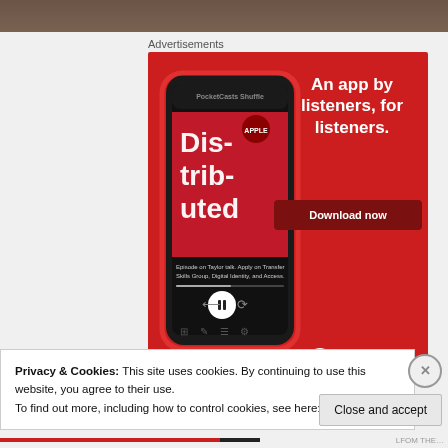[Figure (screenshot): Top portion of a webpage showing a dark brown image at the top (partially cropped)]
Advertisements
[Figure (illustration): Pocket Casts advertisement on red background featuring a smartphone showing a podcast app interface with text 'Dis-trib-uted' and tagline 'An app by listeners, for listeners.' with a 'Download now' button and Pocket Casts logo]
Privacy & Cookies: This site uses cookies. By continuing to use this website, you agree to their use.
To find out more, including how to control cookies, see here: Cookie Policy